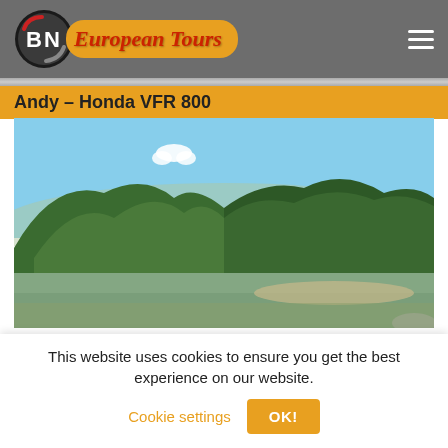BN European Tours
Andy – Honda VFR 800
[Figure (photo): Landscape photograph of a forested mountain range with a calm lake or river in the foreground under a blue sky with a small white cloud]
This website uses cookies to ensure you get the best experience on our website.
Cookie settings
OK!